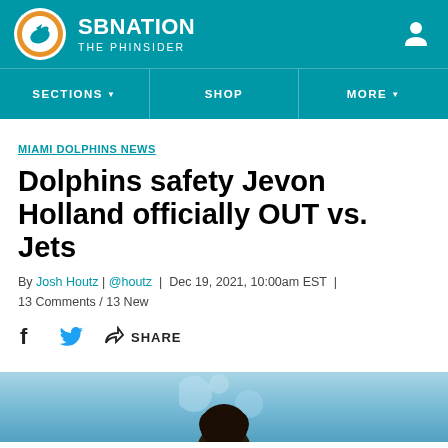SB NATION / THE PHINSIDER
MIAMI DOLPHINS NEWS
Dolphins safety Jevon Holland officially OUT vs. Jets
By Josh Houtz | @houtz | Dec 19, 2021, 10:00am EST | 13 Comments / 13 New
[Figure (other): Social share icons: Facebook, Twitter, and a generic share icon with label SHARE]
[Figure (photo): Bottom portion of page showing top of a person's head with curly hair against a blurred teal/blue bokeh background]